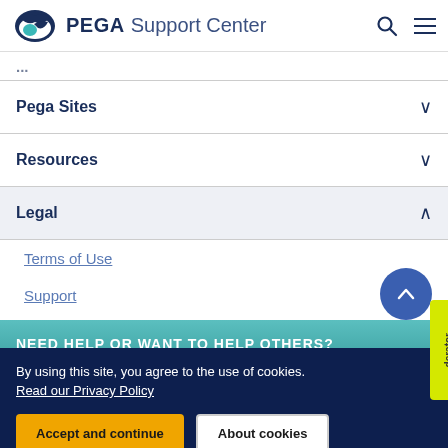PEGA Support Center
Pega Sites
Resources
Legal
Terms of Use
Support
Glossary
Privacy
NEED HELP OR WANT TO HELP OTHERS?
By using this site, you agree to the use of cookies.
Read our Privacy Policy
Accept and continue
About cookies